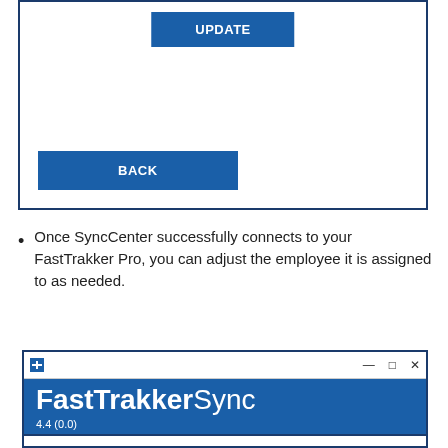[Figure (screenshot): Software dialog screenshot showing UPDATE button at top and BACK button at bottom, with a bordered white content area]
Once SyncCenter successfully connects to your FastTrakker Pro, you can adjust the employee it is assigned to as needed.
[Figure (screenshot): FastTrakkerSync application window showing the app title 'FastTrakkerSync' and version '4.4 (0.0)' on a blue background header]